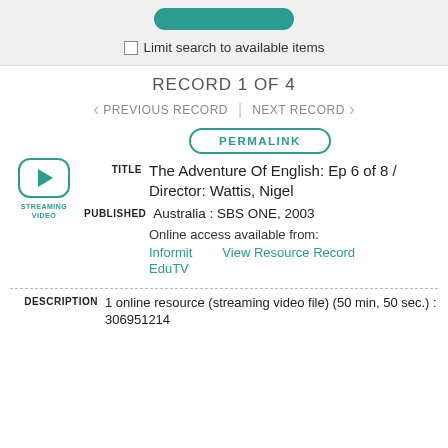Limit search to available items
RECORD 1 OF 4
PREVIOUS RECORD | NEXT RECORD
[Figure (other): Streaming video icon: rounded rectangle with play triangle, labeled STREAMING VIDEO]
PERMALINK
TITLE   The Adventure Of English: Ep 6 of 8 / Director: Wattis, Nigel
PUBLISHED   Australia : SBS ONE, 2003
Online access available from:
Informit   View Resource Record
EduTV
DESCRIPTION   1 online resource (streaming video file) (50 min, 50 sec.) : 306951214